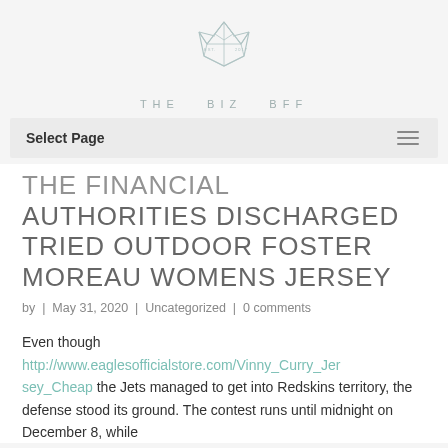[Figure (logo): The Biz BFF logo: geometric fox outline above the text 'THE BIZ BFF' in spaced capitals]
Select Page
THE FINANCIAL AUTHORITIES DISCHARGED TRIED OUTDOOR FOSTER MOREAU WOMENS JERSEY
by | May 31, 2020 | Uncategorized | 0 comments
Even though http://www.eaglesofficialstore.com/Vinny_Curry_Jersey_Cheap the Jets managed to get into Redskins territory, the defense stood its ground. The contest runs until midnight on December 8, while